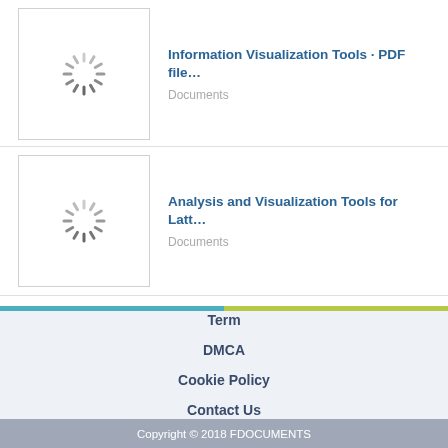Information Visualization Tools · PDF file...
Documents
Analysis and Visualization Tools for Latt...
Documents
View More >
Term
DMCA
Cookie Policy
Contact Us
Copyright © 2018 FDOCUMENTS